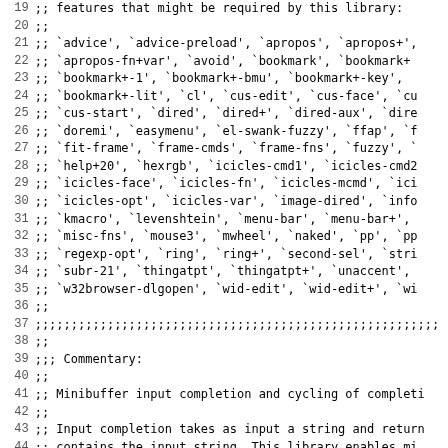Source code listing showing Emacs Lisp commentary for Icicles library, lines 19-51